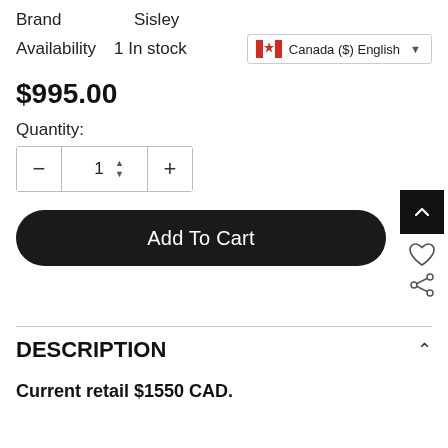Brand   Sisley
Availability   1 In stock
$995.00
Quantity:
[Figure (screenshot): Quantity selector with minus, 1, arrows, plus buttons]
Add To Cart
DESCRIPTION
Current retail $1550 CAD.